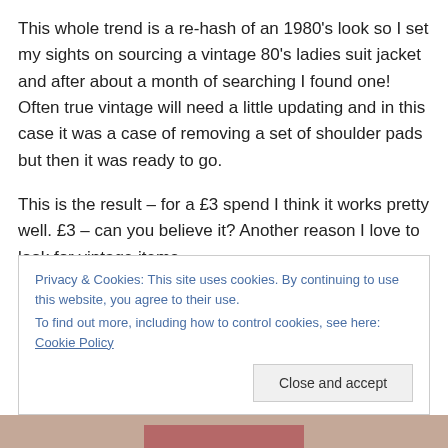This whole trend is a re-hash of an 1980's look so I set my sights on sourcing a vintage 80's ladies suit jacket and after about a month of searching I found one! Often true vintage will need a little updating and in this case it was a case of removing a set of shoulder pads but then it was ready to go.
This is the result – for a £3 spend I think it works pretty well. £3 – can you believe it? Another reason I love to look for vintage items…
Privacy & Cookies: This site uses cookies. By continuing to use this website, you agree to their use. To find out more, including how to control cookies, see here: Cookie Policy
[Figure (photo): Bottom strip showing top of a person's head with reddish hair, partially visible]